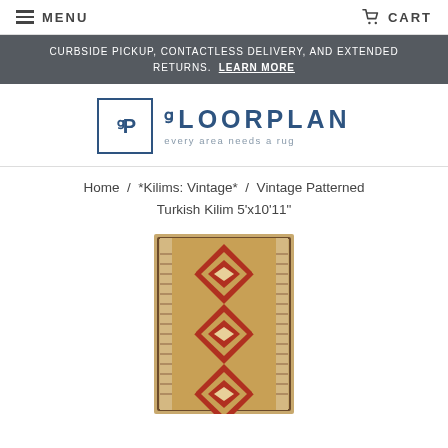MENU   CART
CURBSIDE PICKUP, CONTACTLESS DELIVERY, AND EXTENDED RETURNS. LEARN MORE
[Figure (logo): Floorplan logo: FP in a square box next to the text FLOORPLAN with tagline 'every area needs a rug']
Home / *Kilims: Vintage* / Vintage Patterned Turkish Kilim 5'x10'11"
[Figure (photo): Photo of a vintage patterned Turkish Kilim rug runner with red, tan, and multicolor geometric diamond patterns]